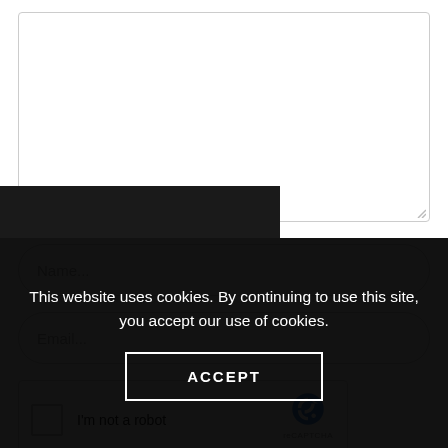[Figure (screenshot): Empty textarea input field with resize handle at bottom right]
Name...
Email...
[Figure (other): reCAPTCHA widget with checkbox labeled 'I'm not a robot' and reCAPTCHA logo]
This website uses cookies. By continuing to use this site, you accept our use of cookies.
ACCEPT